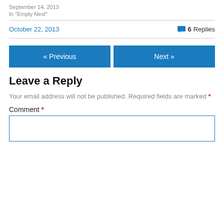September 14, 2013
In "Empty Nest"
October 22, 2013
💬 6 Replies
« Previous
Next »
Leave a Reply
Your email address will not be published. Required fields are marked *
Comment *